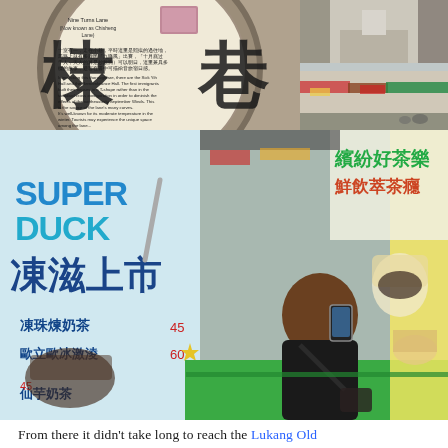[Figure (photo): Collage of four photos: top-left shows a circular stone sign with Chinese characters and English text describing Nine Turns Lane (now known as Chisheng Lane), top-right-top shows a narrow alley/lane, top-right-bottom shows a street market lane with shops and scooters, bottom large photo shows a person taking a selfie in front of bubble tea advertisement banners with Chinese text (SUPER DUCK, 凍滋上市, 繽紛好茶樂, 鮮飲萃茶癮)]
From there it didn't take long to reach the Lukang Old